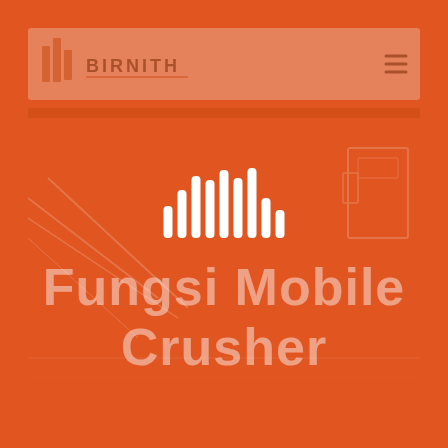[Figure (screenshot): Orange/red branded page with Birnith logo and navigation bar at top, faded website screenshot background showing gravel/mining scene, a white audio waveform/loading icon in the center, and large semi-transparent text reading 'Fungsi Mobile Crusher']
Fungsi Mobile Crusher